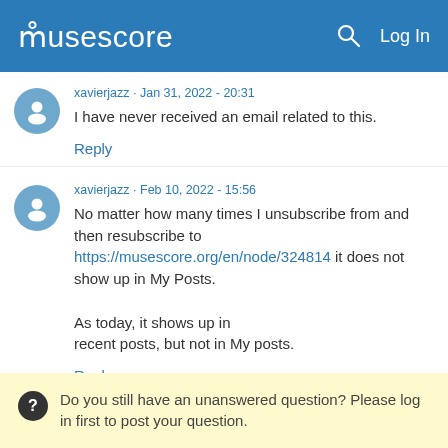musescore  Log In
xavierjazz · Jan 31, 2022 - 20:31
I have never received an email related to this.
Reply
xavierjazz · Feb 10, 2022 - 15:56
No matter how many times I unsubscribe from and then resubscribe to https://musescore.org/en/node/324814 it does not show up in My Posts.

As today, it shows up in recent posts, but not in My posts.
Reply
Do you still have an unanswered question? Please log in first to post your question.